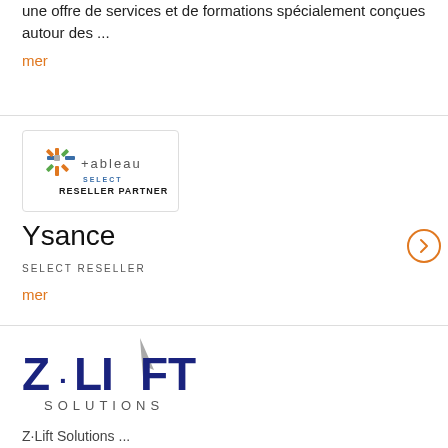une offre de services et de formations spécialement conçues autour des ...
mer
[Figure (logo): Tableau SELECT RESELLER PARTNER logo in a white rounded rectangle box]
Ysance
SELECT RESELLER
mer
[Figure (logo): Z·LIFT SOLUTIONS logo in dark navy blue with an arrow graphic]
Z·Lift Solutions ...